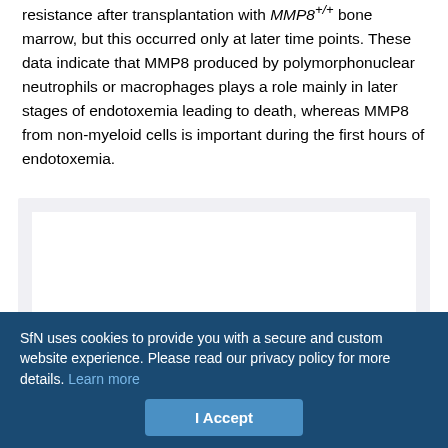MMP8+/+ bone marrow. However, MMP8-/- mice partially lost their resistance after transplantation with MMP8+/+ bone marrow, but this occurred only at later time points. These data indicate that MMP8 produced by polymorphonuclear neutrophils or macrophages plays a role mainly in later stages of endotoxemia leading to death, whereas MMP8 from non-myeloid cells is important during the first hours of endotoxemia.
[Figure (other): White figure area on light gray background, content not visible due to cookie overlay]
SfN uses cookies to provide you with a secure and custom website experience. Please read our privacy policy for more details. Learn more